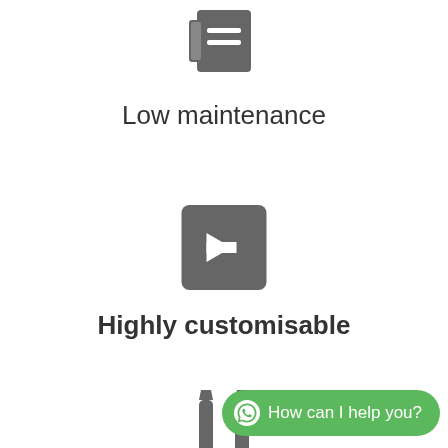[Figure (illustration): Grey icon showing a card/document with lines, representing low maintenance]
Low maintenance
[Figure (illustration): Grey square button with a right-pointing arrow icon, representing navigation or customisability]
Highly customisable
[Figure (illustration): Grey icon showing tools/wrench, partially visible at bottom of page]
[Figure (other): WhatsApp chat button with green background showing 'How can I help you?' text and WhatsApp logo]